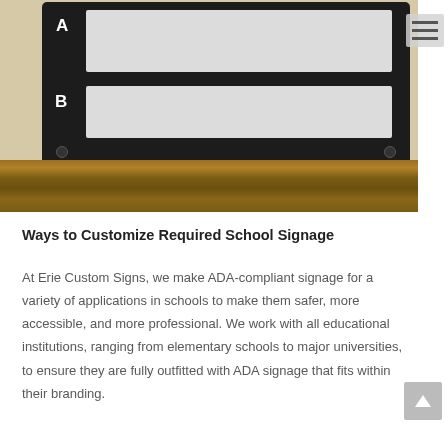[Figure (photo): Close-up photo of a black ADA-compliant sign frame with two rows (labeled A and B) containing white/light grey insert panels, resting on a wooden ledge. A hamburger menu icon is visible in the top right corner.]
Ways to Customize Required School Signage
At Erie Custom Signs, we make ADA-compliant signage for a variety of applications in schools to make them safer, more accessible, and more professional. We work with all educational institutions, ranging from elementary schools to major universities, to ensure they are fully outfitted with ADA signage that fits within their branding.